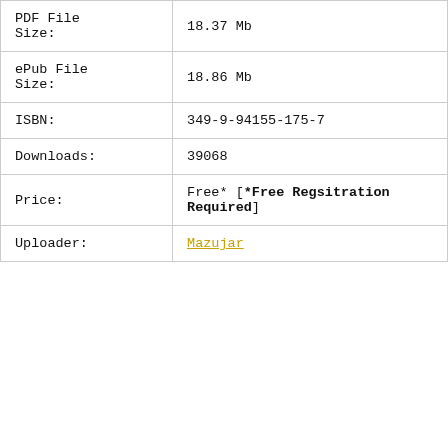| PDF File Size: | 18.37 Mb |
| ePub File Size: | 18.86 Mb |
| ISBN: | 349-9-94155-175-7 |
| Downloads: | 39068 |
| Price: | Free* [*Free Regsitration Required] |
| Uploader: | Mazujar |